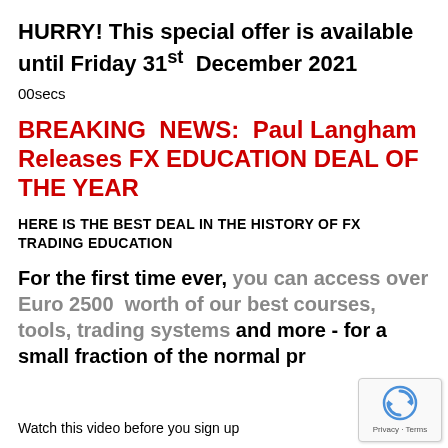HURRY! This special offer is available until Friday 31st  December 2021
00secs
BREAKING  NEWS:  Paul Langham Releases FX EDUCATION DEAL OF THE YEAR
HERE IS THE BEST DEAL IN THE HISTORY OF FX TRADING EDUCATION
For the first time ever, you can access over Euro 2500  worth of our best courses, tools, trading systems and more - for a small fraction of the normal pr
Watch this video before you sign up
[Figure (other): reCAPTCHA widget showing spinning arrows icon with 'Privacy - Terms' label]